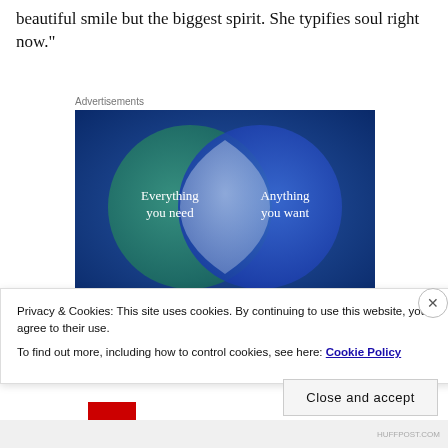beautiful smile but the biggest spirit. She typifies soul right now."
Advertisements
[Figure (infographic): Venn diagram advertisement with two overlapping circles on a blue-green background. Left circle (teal/green) labeled 'Everything you need', right circle (blue) labeled 'Anything you want', with a light overlapping intersection region.]
Privacy & Cookies: This site uses cookies. By continuing to use this website, you agree to their use.
To find out more, including how to control cookies, see here: Cookie Policy
Close and accept